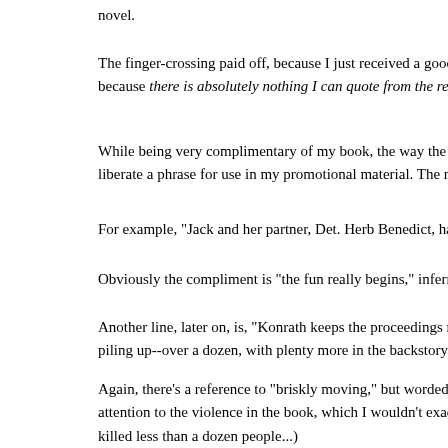novel.
The finger-crossing paid off, because I just received a good review in Kirkus for Dirty Martini. It's bittersweet, because there is absolutely nothing I can quote from the review.
While being very complimentary of my book, the way the review has been written makes it impossible to liberate a phrase for use in my promotional material. The reviewer seemed to e...
For example, "Jack and her partner, Det. Herb Benedict, have him in their sigh...
Obviously the compliment is "the fun really begins," inferring that the book is...
Another line, later on, is, "Konrath keeps the proceedings moving so briskly th... piling up--over a dozen, with plenty more in the backstory."
Again, there's a reference to "briskly moving," but worded in a way that's very... attention to the violence in the book, which I wouldn't exactly call a selling po... killed less than a dozen people...)
A friend of mine is a genius (read: shameless) when it comes to paraphrasing r... from the London Times and trimmed it to, "Astonishing..." - The London Time...